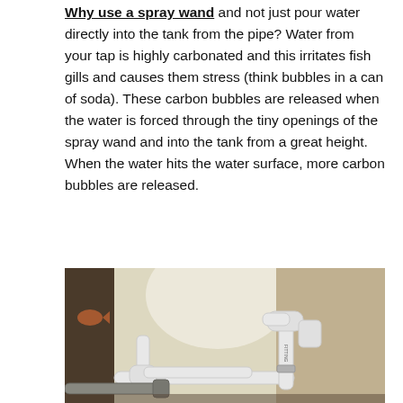Why use a spray wand and not just pour water directly into the tank from the pipe? Water from your tap is highly carbonated and this irritates fish gills and causes them stress (think bubbles in a can of soda). These carbon bubbles are released when the water is forced through the tiny openings of the spray wand and into the tank from a great height. When the water hits the water surface, more carbon bubbles are released.
[Figure (photo): A PVC pipe spray wand assembly with white PVC pipes and fittings including elbows and connectors, mounted near what appears to be an aquarium tank. A grey metal pipe is also visible in the lower left.]